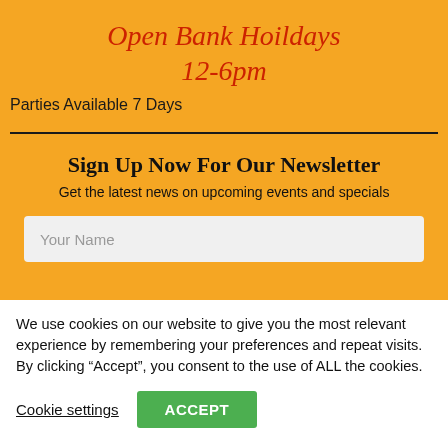Open Bank Hoildays 12-6pm
Parties Available 7 Days
Sign Up Now For Our Newsletter
Get the latest news on upcoming events and specials
Your Name
We use cookies on our website to give you the most relevant experience by remembering your preferences and repeat visits. By clicking “Accept”, you consent to the use of ALL the cookies.
Cookie settings    ACCEPT